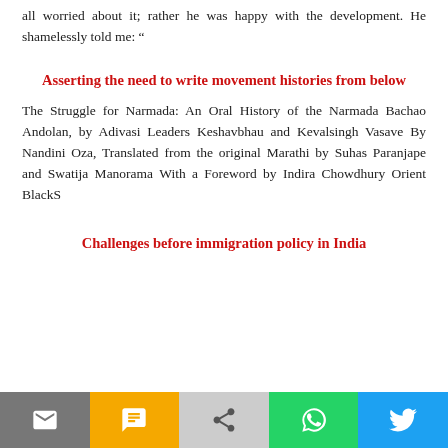all worried about it; rather he was happy with the development. He shamelessly told me: “
Asserting the need to write movement histories from below
The Struggle for Narmada: An Oral History of the Narmada Bachao Andolan, by Adivasi Leaders Keshavbhau and Kevalsingh Vasave By Nandini Oza, Translated from the original Marathi by Suhas Paranjape and Swatija Manorama With a Foreword by Indira Chowdhury Orient BlackS
Challenges before immigration policy in India